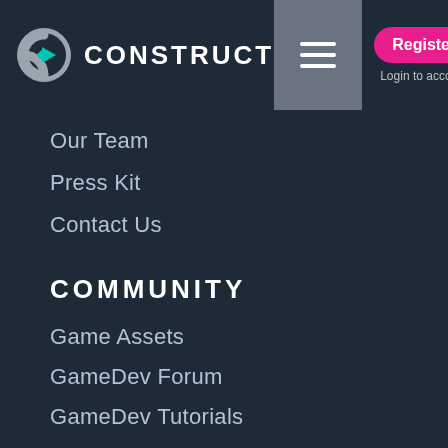[Figure (logo): Construct logo with C icon and CONSTRUCT text in white on dark blue header]
[Figure (other): Hamburger menu icon (three horizontal lines) on grey background]
[Figure (other): Pink Register button and Login to account text]
Our Team
Press Kit
Contact Us
COMMUNITY
Game Assets
GameDev Forum
GameDev Tutorials
GameDev Blogs
Free Online Arcade
Community Guidelines